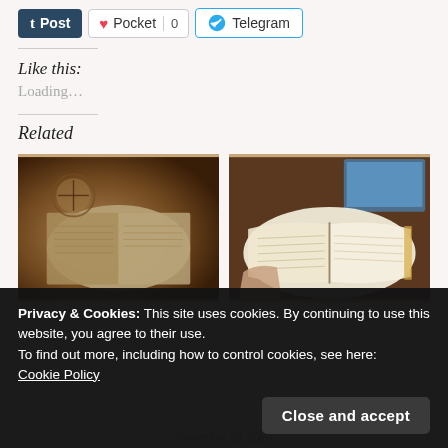[Figure (other): Social share buttons: Tumblr Post (dark blue), Pocket (with heart icon and count 0), Telegram (with blue icon)]
Like this:
Loading...
Related
[Figure (photo): Open Bible with compass and leather items, sepia/warm tones]
[Figure (photo): Person holding open Bible near a computer screen]
Privacy & Cookies: This site uses cookies. By continuing to use this website, you agree to their use.
To find out more, including how to control cookies, see here:
Cookie Policy
Close and accept
November 26, 2020